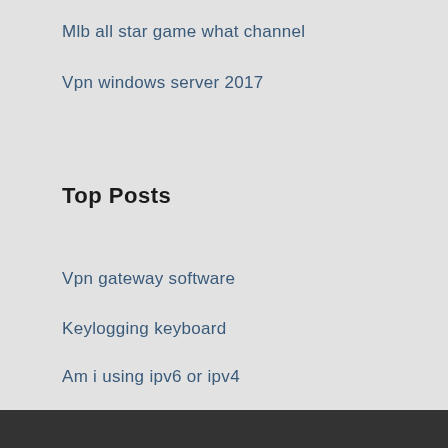Mlb all star game what channel
Vpn windows server 2017
Top Posts
Vpn gateway software
Keylogging keyboard
Am i using ipv6 or ipv4
Vrjin porn
Working proxy ip address